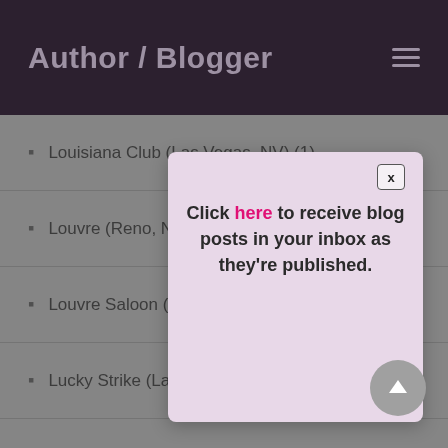Author / Blogger
Louisiana Club (Las Vegas, NV) (1)
Louvre (Reno, NV…)
Louvre Saloon (…)
Lucky Strike (La…)
Lux (offshore, S…)
Main Event (Tijuana, Mexico) (1)
Mapes (Reno, NV) (8)
Marina Hotel and Casino (1)
[Figure (screenshot): Popup modal with close button X, text: Click here to receive blog posts in your inbox as they're published.]